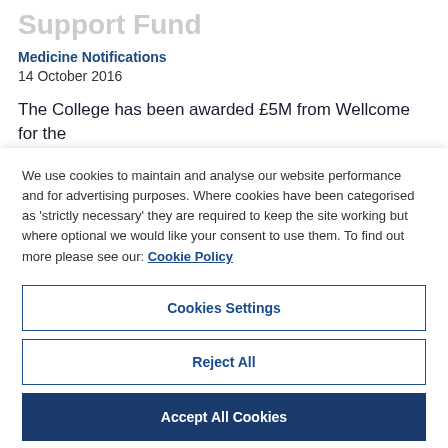Support Fund
Medicine Notifications
14 October 2016
The College has been awarded £5M from Wellcome for the
We use cookies to maintain and analyse our website performance and for advertising purposes. Where cookies have been categorised as 'strictly necessary' they are required to keep the site working but where optional we would like your consent to use them. To find out more please see our: Cookie Policy
Cookies Settings
Reject All
Accept All Cookies